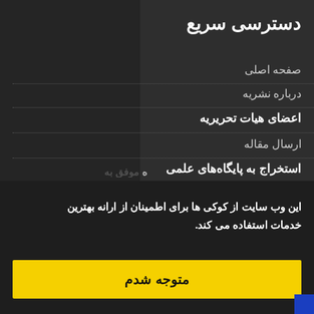دسترسی سریع
صفحه اصلی
درباره نشریه
اعضای هیات تحریریه
ارسال مقاله
استخراج به پایگاه‌های علمی
تماس با ما
واژه نامه اختصاصی
اشتراک نسخه چاپی نشریه
این وب سایت از کوکی ها برای اطمینان از ارانه بهترین خدمات استفاده می کند.
متوجه شدم
ه موفق به